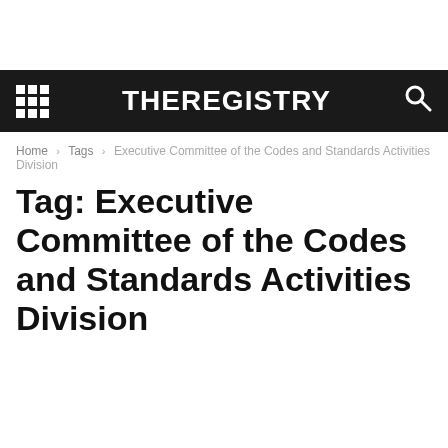THEREGISTRY
Home › Tags › Executive Committee of the Codes and Standards Activities Division
Tag: Executive Committee of the Codes and Standards Activities Division